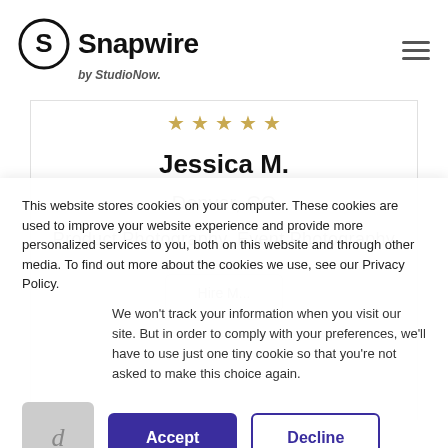[Figure (logo): Snapwire by StudioNow logo with circular S icon]
[Figure (screenshot): Profile card showing Jessica M., Denver CO, Product Photography Event Photography, with star rating and partial hire button]
This website stores cookies on your computer. These cookies are used to improve your website experience and provide more personalized services to you, both on this website and through other media. To find out more about the cookies we use, see our Privacy Policy.
We won't track your information when you visit our site. But in order to comply with your preferences, we'll have to use just one tiny cookie so that you're not asked to make this choice again.